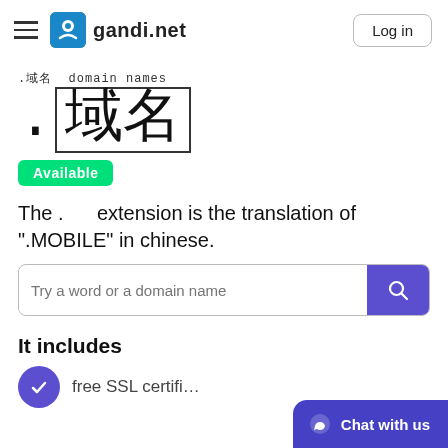gandi.net — Log in
.域名 domain names
.域名
Available
The .域名 extension is the translation of ".MOBILE" in chinese.
Try a word or a domain name
It includes
free SSL certifi...